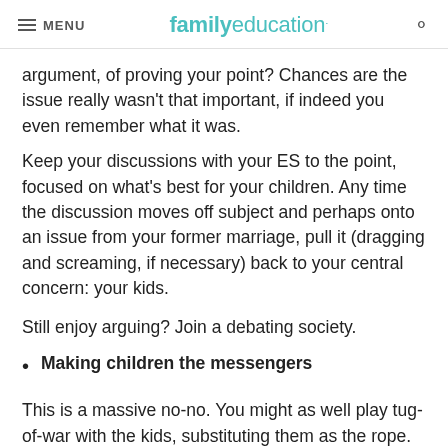MENU | familyeducation
argument, of proving your point? Chances are the issue really wasn't that important, if indeed you even remember what it was.
Keep your discussions with your ES to the point, focused on what's best for your children. Any time the discussion moves off subject and perhaps onto an issue from your former marriage, pull it (dragging and screaming, if necessary) back to your central concern: your kids.

Still enjoy arguing? Join a debating society.
Making children the messengers
This is a massive no-no. You might as well play tug-of-war with the kids, substituting them as the rope. When you force your children to...